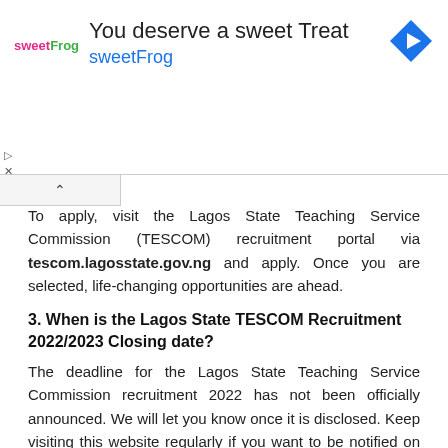[Figure (screenshot): Advertisement banner for sweetFrog with text 'You deserve a sweet Treat' and 'sweetFrog', along with a blue diamond navigation icon. Play and close controls visible on left side.]
To apply, visit the Lagos State Teaching Service Commission (TESCOM) recruitment portal via tescom.lagosstate.gov.ng and apply. Once you are selected, life-changing opportunities are ahead.
3. When is the Lagos State TESCOM Recruitment 2022/2023 Closing date?
The deadline for the Lagos State Teaching Service Commission recruitment 2022 has not been officially announced. We will let you know once it is disclosed. Keep visiting this website regularly if you want to be notified on the latest update.
Take note of the following;
An applicant who does not have a teaching credential can